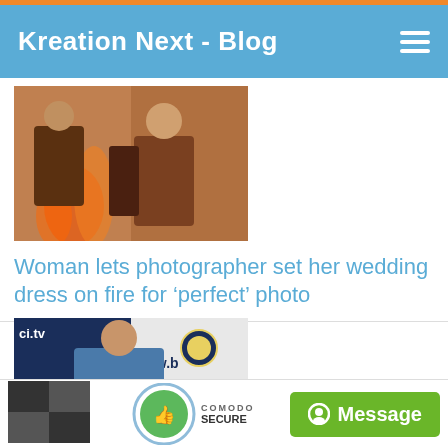Kreation Next - Blog
[Figure (photo): Woman in a burning wedding dress, photo thumbnail]
Woman lets photographer set her wedding dress on fire for ‘perfect’ photo
[Figure (photo): Sachin Tendulkar, press conference, bcci.tv watermark visible]
Sachin Tendulkar, Sourav Ganguly, VVS Laxman livid post Virat Kohli-Anil Kumble rift?
[Figure (photo): Partial third article thumbnail]
[Figure (logo): Comodo Secure badge with thumbs up icon]
Message